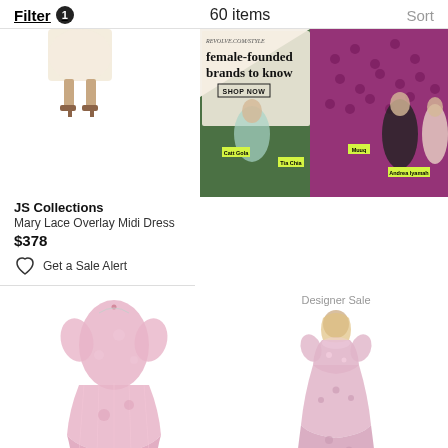Filter 1   60 items   Sort
[Figure (photo): Partial view of a white/cream lace midi dress showing the bottom half with legs in heels]
JS Collections
Mary Lace Overlay Midi Dress
$378
Get a Sale Alert
[Figure (photo): Advertisement banner for female-founded brands with text 'female-founded brands to know', 'SHOP NOW', and labels: Catt Gola, Tia Chia, Muuq, Andrea Iyamah]
[Figure (photo): Pink lace overlay short-sleeve dress (Dolce & Gabbana) shown on white background]
[Figure (photo): Pink sequin floral appliqué illusion gown (Mac Duggal) with Designer Sale label, shown on model]
Dolce & Gabbana
Lace-Overlay Short-Sleeve Dre...
$2,007  $3,345
Mac Duggal
Sequin Floral Appliquè Illusion L...
$798